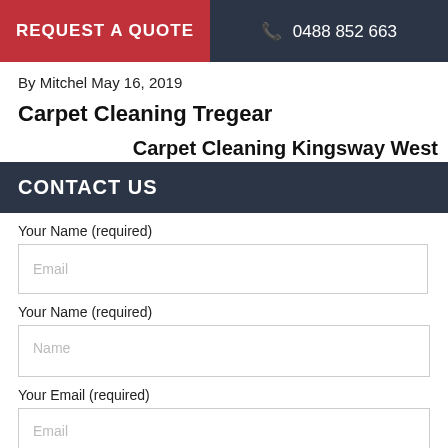REQUEST A QUOTE | ☎ 0488 852 663
By Mitchel May 16, 2019
Carpet Cleaning Tregear
Carpet Cleaning Kingsway West
CONTACT US
Your Name (required)
Name
Your Email (required)
Email
Your Phone (required)